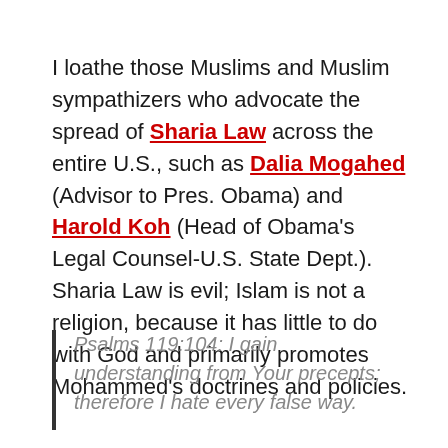I loathe those Muslims and Muslim sympathizers who advocate the spread of Sharia Law across the entire U.S., such as Dalia Mogahed (Advisor to Pres. Obama) and Harold Koh (Head of Obama's Legal Counsel-U.S. State Dept.). Sharia Law is evil; Islam is not a religion, because it has little to do with God and primarily promotes Mohammed's doctrines and policies.
Psalms 119:104: I gain understanding from Your precepts; therefore I hate every false way.